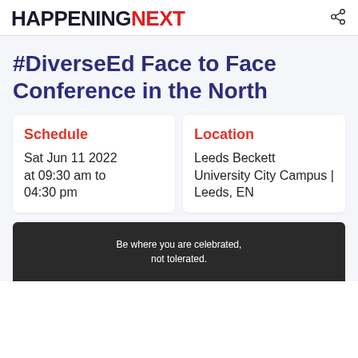HAPPENING NEXT
#DiverseEd Face to Face Conference in the North
Schedule
Sat Jun 11 2022 at 09:30 am to 04:30 pm
Location
Leeds Beckett University City Campus | Leeds, EN
[Figure (photo): Dark banner with quote: Be where you are celebrated, not tolerated.]